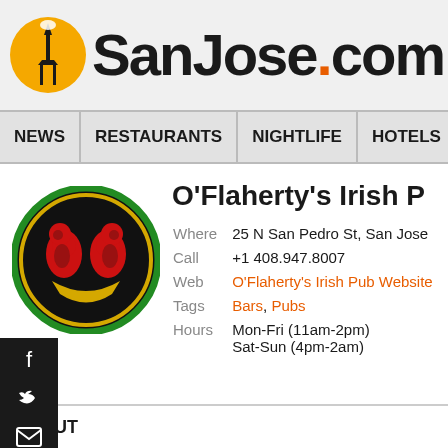SanJose.com
NEWS | RESTAURANTS | NIGHTLIFE | HOTELS | AT
O'Flaherty's Irish P
| Field | Value |
| --- | --- |
| Where | 25 N San Pedro St, San Jose |
| Call | +1 408.947.8007 |
| Web | O'Flaherty's Irish Pub Website |
| Tags | Bars, Pubs |
| Hours | Mon-Fri (11am-2pm)
Sat-Sun (4pm-2am) |
ABOUT